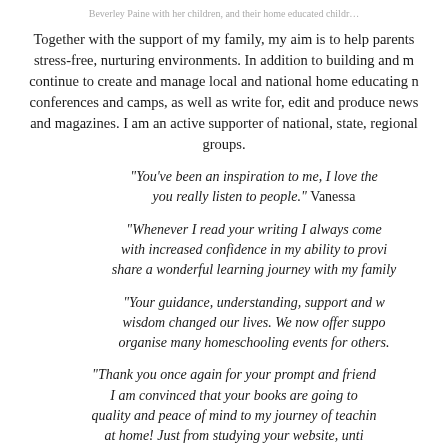Beverley Paine with her children, and their home educated childr...
Together with the support of my family, my aim is to help parents stress-free, nurturing environments. In addition to building and m continue to create and manage local and national home educating n conferences and camps, as well as write for, edit and produce news and magazines. I am an active supporter of national, state, regional groups.
"You've been an inspiration to me, I love the you really listen to people." Vanessa
"Whenever I read your writing I always come with increased confidence in my ability to provi share a wonderful learning journey with my family
"Your guidance, understanding, support and w wisdom changed our lives. We now offer suppo organise many homeschooling events for others.
"Thank you once again for your prompt and friend I am convinced that your books are going to quality and peace of mind to my journey of teachin at home! Just from studying your website, unti